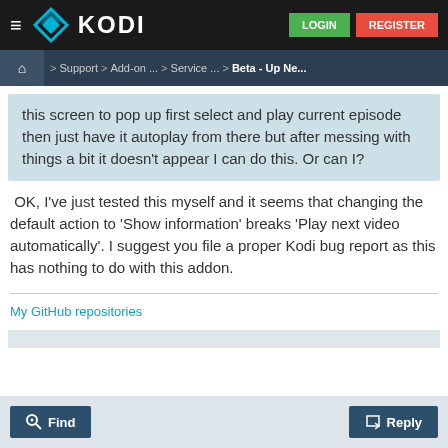≡  KODI   LOGIN  REGISTER
🏠 > Support > Add-on ... > Service ... > Beta - Up Ne...
this screen to pop up first select and play current episode then just have it autoplay from there but after messing with things a bit it doesn't appear I can do this. Or can I?
OK, I've just tested this myself and it seems that changing the default action to 'Show information' breaks 'Play next video automatically'. I suggest you file a proper Kodi bug report as this has nothing to do with this addon.
My GitHub repositories